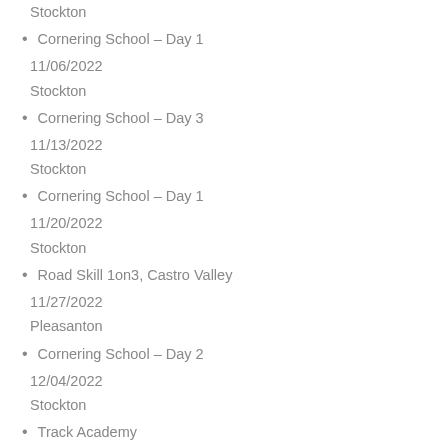Stockton
Cornering School – Day 1
11/06/2022
Stockton
Cornering School – Day 3
11/13/2022
Stockton
Cornering School – Day 1
11/20/2022
Stockton
Road Skill 1on3, Castro Valley
11/27/2022
Pleasanton
Cornering School – Day 2
12/04/2022
Stockton
Track Academy